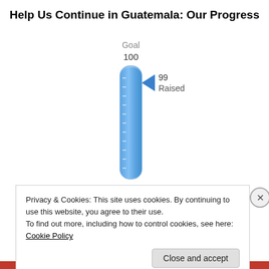Help Us Continue in Guatemala: Our Progress
[Figure (bar-chart): Vertical thermometer-style bar chart showing fundraising progress. A tall blue bar nearly fills the chart (99 out of 100 goal). A blue triangle arrow points to the top of the bar with label '99 Raised'. Above is 'Goal 100'.]
Privacy & Cookies: This site uses cookies. By continuing to use this website, you agree to their use.
To find out more, including how to control cookies, see here: Cookie Policy
Close and accept